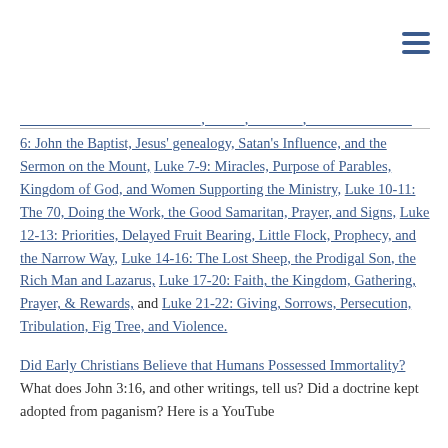[Figure (other): Hamburger menu icon (three horizontal lines) in blue, top right corner]
6: John the Baptist, Jesus' genealogy, Satan's Influence, and the Sermon on the Mount, Luke 7-9: Miracles, Purpose of Parables, Kingdom of God, and Women Supporting the Ministry, Luke 10-11: The 70, Doing the Work, the Good Samaritan, Prayer, and Signs, Luke 12-13: Priorities, Delayed Fruit Bearing, Little Flock, Prophecy, and the Narrow Way, Luke 14-16: The Lost Sheep, the Prodigal Son, the Rich Man and Lazarus, Luke 17-20: Faith, the Kingdom, Gathering, Prayer, & Rewards, and Luke 21-22: Giving, Sorrows, Persecution, Tribulation, Fig Tree, and Violence.
Did Early Christians Believe that Humans Possessed Immortality? What does John 3:16, and other writings, tell us? Did a doctrine kept adopted from paganism? Here is a YouTube